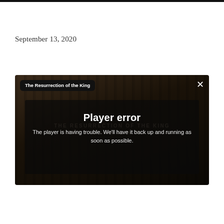September 13, 2020
[Figure (screenshot): A video player screenshot showing a 'Player error' dialog overlay on a dark video background. The video title 'The Resurrection of the King' appears in a black rounded-rectangle label at the top-left. A close (X) button is at the top-right. The center shows a semi-transparent dark overlay with the bold white text 'Player error' and below it the message 'The player is having trouble. We'll have it back up and running as soon as possible.' Faint text 'THE RESURRECTION OF THE KING' is visible behind the overlay.]